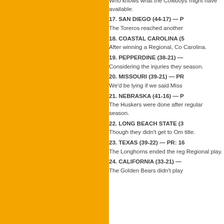[Figure (illustration): Large orange/amber colored rectangular block filling the left portion of the page]
Who knows what the Cowboys might have available.
17. SAN DIEGO (44-17) — P
The Toreros reached another
18. COASTAL CAROLINA (5
After winning a Regional, Co Carolina.
19. PEPPERDINE (38-21) —
Considering the injuries they season.
20. MISSOURI (39-21) — PR
We'd be lying if we said Miss
21. NEBRASKA (41-16) — P
The Huskers were done after regular season.
22. LONG BEACH STATE (3
Though they didn't get to Om title.
23. TEXAS (39-22) — PR: 16
The Longhorns ended the reg Regional play.
24. CALIFORNIA (33-21) —
The Golden Bears didn't play